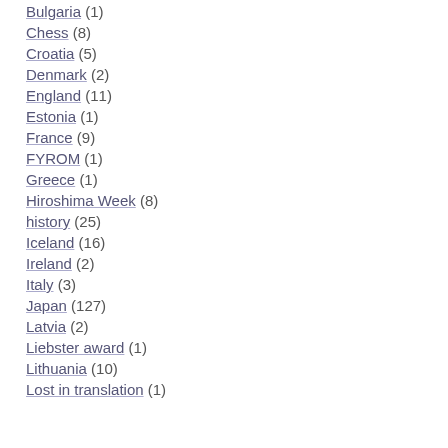Bulgaria (1)
Chess (8)
Croatia (5)
Denmark (2)
England (11)
Estonia (1)
France (9)
FYROM (1)
Greece (1)
Hiroshima Week (8)
history (25)
Iceland (16)
Ireland (2)
Italy (3)
Japan (127)
Latvia (2)
Liebster award (1)
Lithuania (10)
Lost in translation (1)